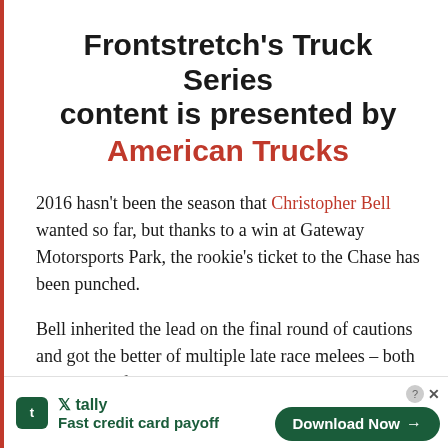Frontstretch's Truck Series content is presented by American Trucks
2016 hasn't been the season that Christopher Bell wanted so far, but thanks to a win at Gateway Motorsports Park, the rookie's ticket to the Chase has been punched.
Bell inherited the lead on the final round of cautions and got the better of multiple late race melees – both in and out of the cockpit
[Figure (other): Tally app advertisement banner: logo icon, 'tally Fast credit card payoff' text on left, 'Download Now' button with arrow on right, close/help icons top right]